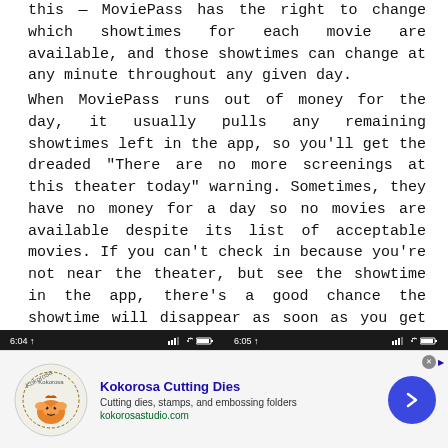this — MoviePass has the right to change which showtimes for each movie are available, and those showtimes can change at any minute throughout any given day.
When MoviePass runs out of money for the day, it usually pulls any remaining showtimes left in the app, so you'll get the dreaded "There are no more screenings at this theater today" warning. Sometimes, they have no money for a day so no movies are available despite its list of acceptable movies. If you can't check in because you're not near the theater, but see the showtime in the app, there's a good chance the showtime will disappear as soon as you get to the theater.
[Figure (screenshot): Two mobile app screenshots side by side showing MoviePass app at 6:04 and 6:05, with Theater List and Cinemark 18 & XD screens on dark background]
[Figure (other): Advertisement banner for Kokorosa Cutting Dies featuring logo, text 'Cutting dies, stamps, and embossing folders', website kokorosastudio.com, and blue arrow button]